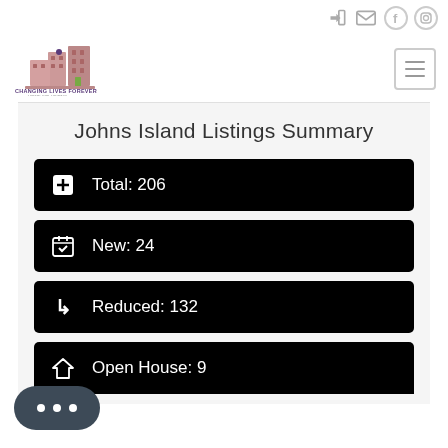[Figure (logo): Changing Lives Forever Home Solutions logo with building icons]
Johns Island Listings Summary
Total: 206
New: 24
Reduced: 132
Open House: 9